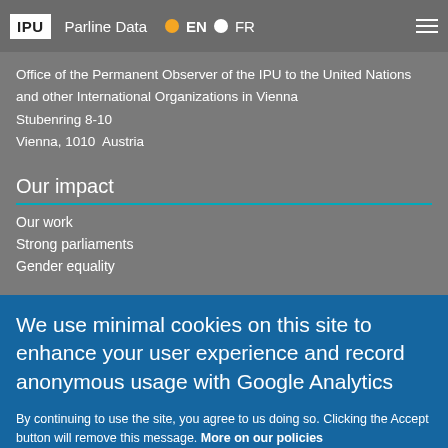IPU  Parline Data  EN  FR
Office of the Permanent Observer of the IPU to the United Nations and other International Organizations in Vienna
Stubenring 8-10
Vienna, 1010  Austria
Our impact
Our work
Strong parliaments
Gender equality
We use minimal cookies on this site to enhance your user experience and record anonymous usage with Google Analytics
By continuing to use the site, you agree to us doing so. Clicking the Accept button will remove this message. More on our policies
Accept